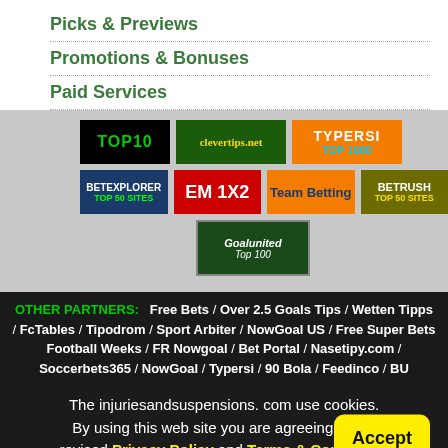Picks & Previews
Promotions & Bonuses
Paid Services
[Figure (infographic): Banner logos: TOP10, clevertips.net, TYPERSI TOP 1000, BETEXPLORER TOP 50 SITES, EM 1X2, Team Betting, BETRUSH TOP 50 SITES, Goalunited Top 100]
OTHER PARTNERS: Free Bets / Over 2.5 Goals Tips / Wetten Tipps / FcTables / Tipodrom / Sport Arbiter / NowGoal US / Free Super Bets Football Weeks / FR Nowgoal / Bet Portal / Nasetipy.com / Soccerbets365 / NowGoal / Typersi / 90 Bola / Feedinco / BU
The injuriesandsuspensions. com use cookies. By using this web site you are agreeing to our revised Privacy Policy and Terms & Conditions , including our Cookie Policy.